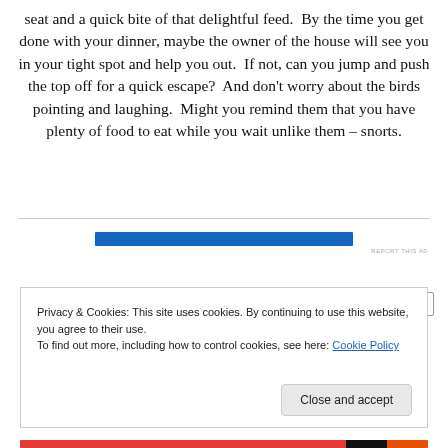seat and a quick bite of that delightful feed.  By the time you get done with your dinner, maybe the owner of the house will see you in your tight spot and help you out.  If not, can you jump and push the top off for a quick escape?  And don't worry about the birds pointing and laughing.  Might you remind them that you have plenty of food to eat while you wait unlike them – snorts.
[Figure (other): Blue advertisement banner bar with REPORT THIS AD label]
Privacy & Cookies: This site uses cookies. By continuing to use this website, you agree to their use.
To find out more, including how to control cookies, see here: Cookie Policy
Close and accept